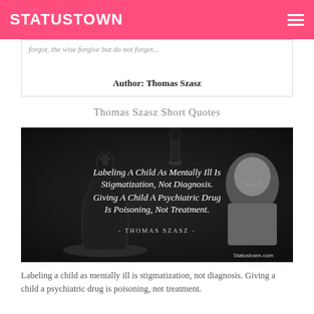STATUSTOWN
forgot, the wise forgive but do not forget...
Author: Thomas Szasz
Thomas Szasz Short Quotes
[Figure (photo): Black and white image with chess pieces and portrait of Thomas Szasz. Text reads: Labeling A Child As Mentally Ill Is Stigmatization, Not Diagnosis. Giving A Child A Psychiatric Drug Is Poisoning, Not Treatment. - THOMAS SZASZ - Statustown.com]
Labeling a child as mentally ill is stigmatization, not diagnosis. Giving a child a psychiatric drug is poisoning, not treatment.